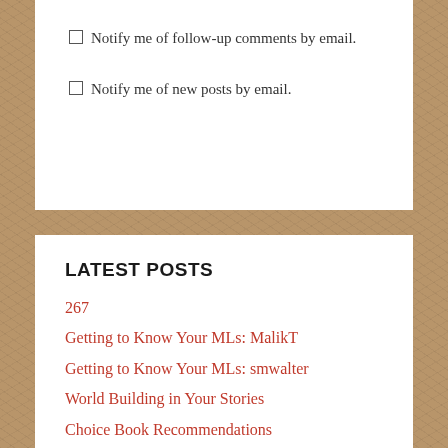Notify me of follow-up comments by email.
Notify me of new posts by email.
LATEST POSTS
267
Getting to Know Your MLs: MalikT
Getting to Know Your MLs: smwalter
World Building in Your Stories
Choice Book Recommendations